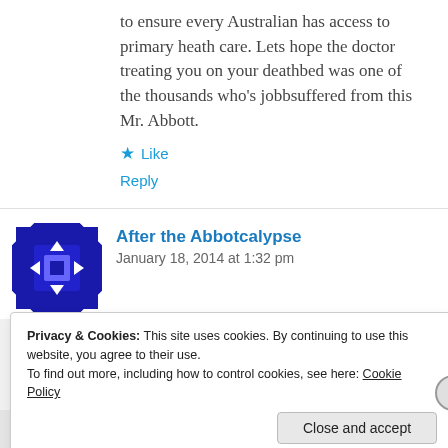to ensure every Australian has access to primary heath care. Lets hope the doctor treating you on your deathbed was one of the thousands who's jobbsuffered from this Mr. Abbott.
★ Like
Reply
After the Abbotcalypse
January 18, 2014 at 1:32 pm
Privacy & Cookies: This site uses cookies. By continuing to use this website, you agree to their use.
To find out more, including how to control cookies, see here: Cookie Policy
Close and accept